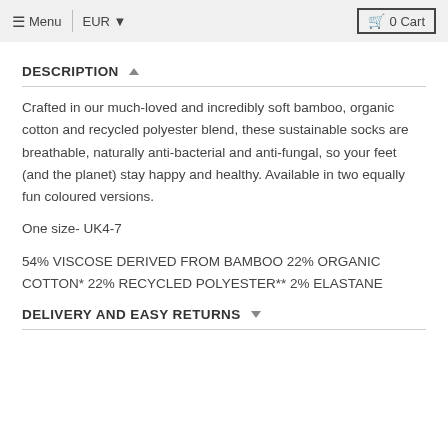≡ Menu  |  EUR ▾  🛒 0 Cart
DESCRIPTION ▲
Crafted in our much-loved and incredibly soft bamboo, organic cotton and recycled polyester blend, these sustainable socks are breathable, naturally anti-bacterial and anti-fungal, so your feet (and the planet) stay happy and healthy. Available in two equally fun coloured versions.
One size- UK4-7
54% VISCOSE DERIVED FROM BAMBOO 22% ORGANIC COTTON* 22% RECYCLED POLYESTER** 2% ELASTANE
DELIVERY AND EASY RETURNS ▾